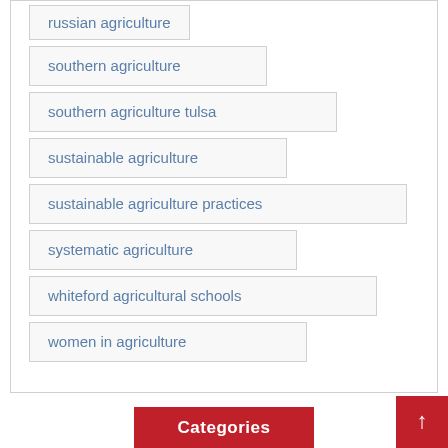russian agriculture
southern agriculture
southern agriculture tulsa
sustainable agriculture
sustainable agriculture practices
systematic agriculture
whiteford agricultural schools
women in agriculture
Categories